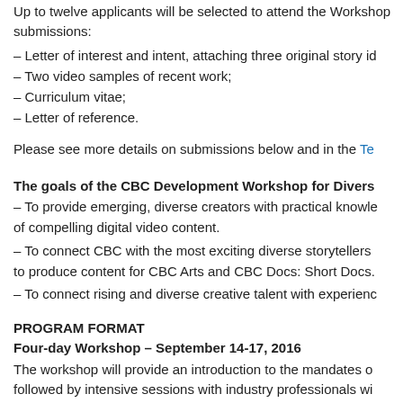Up to twelve applicants will be selected to attend the Workshop. Required submissions:
– Letter of interest and intent, attaching three original story id…
– Two video samples of recent work;
– Curriculum vitae;
– Letter of reference.
Please see more details on submissions below and in the Te…
The goals of the CBC Development Workshop for Divers…
– To provide emerging, diverse creators with practical knowledge of compelling digital video content.
– To connect CBC with the most exciting diverse storytellers to produce content for CBC Arts and CBC Docs: Short Docs.
– To connect rising and diverse creative talent with experience…
PROGRAM FORMAT
Four-day Workshop – September 14-17, 2016
The workshop will provide an introduction to the mandates of CBC followed by intensive sessions with industry professionals with for a multi-platform audience.
WHERE
The Workshop will take place at the CBC Broadcast Centre in town creators are encouraged to apply and if selected, participation kilometres will be reimbursed for travel (economy class airfare and railway with receipts). All participants will be accommodation…